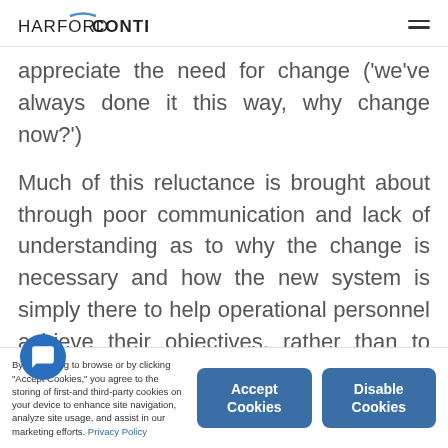HARFORD CONTROL
appreciate the need for change ('we've always done it this way, why change now?')
Much of this reluctance is brought about through poor communication and lack of understanding as to why the change is necessary and how the new system is simply there to help operational personnel achieve their objectives, rather than to pose a threat to their existence or to make their lives more difficult.
By continuing to browse or by clicking "Accept Cookies," you agree to the storing of first-and third-party cookies on your device to enhance site navigation, analyze site usage, and assist in our marketing efforts. Privacy Policy